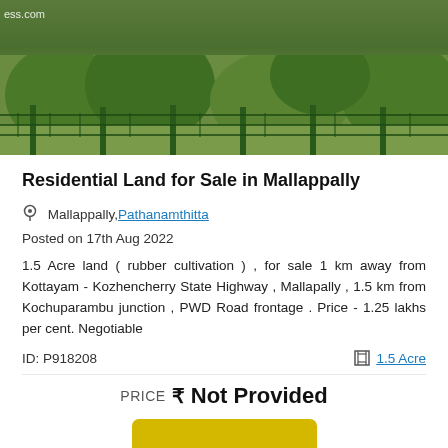[Figure (photo): Photograph of a fenced plot of land with green trees and vegetation in the background, watermark 'ess.com' visible top-left]
Residential Land for Sale in Mallappally
Mallappally, Pathanamthitta
Posted on 17th Aug 2022
1.5 Acre land ( rubber cultivation ) , for sale 1 km away from Kottayam - Kozhencherry State Highway , Mallapally , 1.5 km from Kochuparambu junction , PWD Road frontage . Price - 1.25 lakhs per cent. Negotiable
ID: P918208   1.5 Acre
PRICE ₹ Not Provided